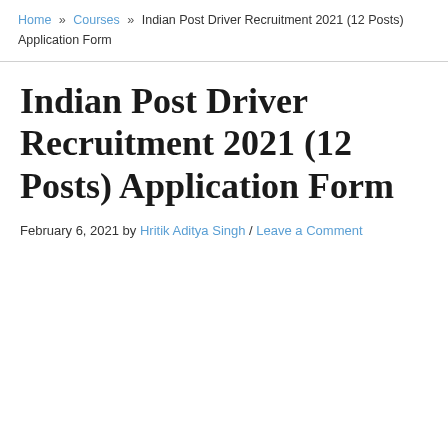Home » Courses » Indian Post Driver Recruitment 2021 (12 Posts) Application Form
Indian Post Driver Recruitment 2021 (12 Posts) Application Form
February 6, 2021 by Hritik Aditya Singh / Leave a Comment